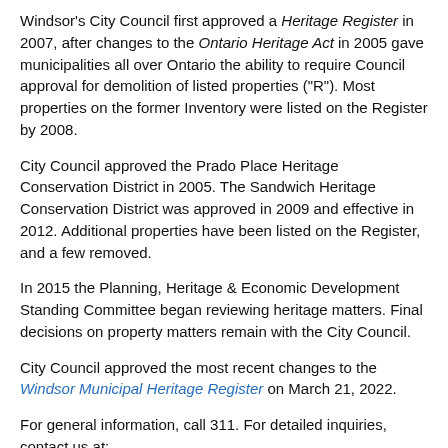Windsor's City Council first approved a Heritage Register in 2007, after changes to the Ontario Heritage Act in 2005 gave municipalities all over Ontario the ability to require Council approval for demolition of listed properties ("R"). Most properties on the former Inventory were listed on the Register by 2008.
City Council approved the Prado Place Heritage Conservation District in 2005. The Sandwich Heritage Conservation District was approved in 2009 and effective in 2012. Additional properties have been listed on the Register, and a few removed.
In 2015 the Planning, Heritage & Economic Development Standing Committee began reviewing heritage matters. Final decisions on property matters remain with the City Council.
City Council approved the most recent changes to the Windsor Municipal Heritage Register on March 21, 2022.
For general information, call 311. For detailed inquiries, contact us at:
Planning and Building Services Department
Suite 210, 350 City Hall Square West
Windsor, Ontario, Canada N9A 6S1
Phone: 519-255-6543 ext. 6179